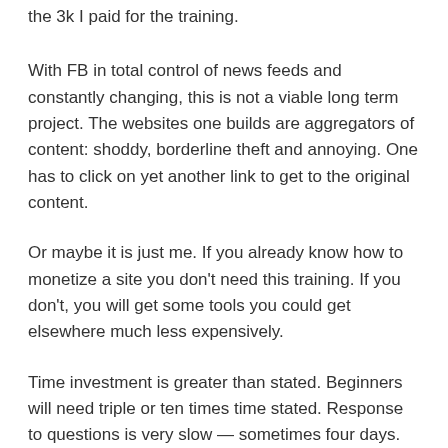the 3k I paid for the training.
With FB in total control of news feeds and constantly changing, this is not a viable long term project. The websites one builds are aggregators of content: shoddy, borderline theft and annoying. One has to click on yet another link to get to the original content.
Or maybe it is just me. If you already know how to monetize a site you don't need this training. If you don't, you will get some tools you could get elsewhere much less expensively.
Time investment is greater than stated. Beginners will need triple or ten times time stated. Response to questions is very slow — sometimes four days. Support staff do not work together so different answers and no follow through.
I found the contests annoying. Also some of the wealth envy patter during weekly training (just flew in on my Cessna…) great for you now how exactly do I solve my technical issues?